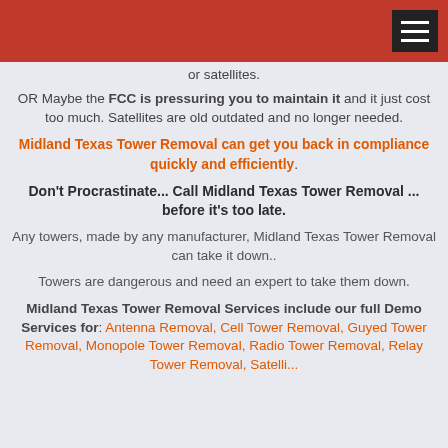or satellites.
OR Maybe the FCC is pressuring you to maintain it and it just cost too much. Satellites are old outdated and no longer needed.
Midland Texas Tower Removal can get you back in compliance quickly and efficiently.
Don't Procrastinate... Call Midland Texas Tower Removal ... before it's too late.
Any towers, made by any manufacturer, Midland Texas Tower Removal can take it down..
Towers are dangerous and need an expert to take them down.
Midland Texas Tower Removal Services include our full Demo Services for: Antenna Removal, Cell Tower Removal, Guyed Tower Removal, Monopole Tower Removal, Radio Tower Removal, Relay Tower Removal, Satellite...